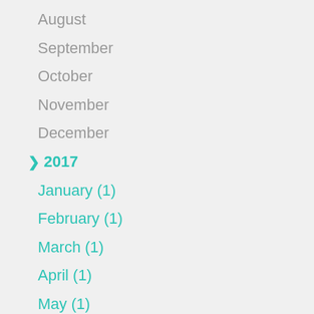August
September
October
November
December
❯ 2017
January (1)
February (1)
March (1)
April (1)
May (1)
June (1)
July (1)
August (1)